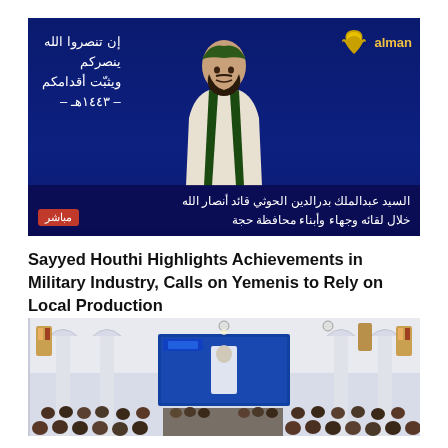[Figure (photo): TV broadcast screenshot showing a man in traditional Yemeni attire speaking, with Arabic text overlay. AlManar logo visible top right. Arabic caption at bottom identifies him as Al-Sayyed Abdulmalik Badreddine Al-Houthi, leader of Ansar Allah, during his meeting with dignitaries and people of Hajjah governorate.]
Sayyed Houthi Highlights Achievements in Military Industry, Calls on Yemenis to Rely on Local Production
[Figure (photo): Crowd of people seated in a large mosque-like hall with ornate pillars and stained glass windows, watching a large screen displaying a speaker in white.]